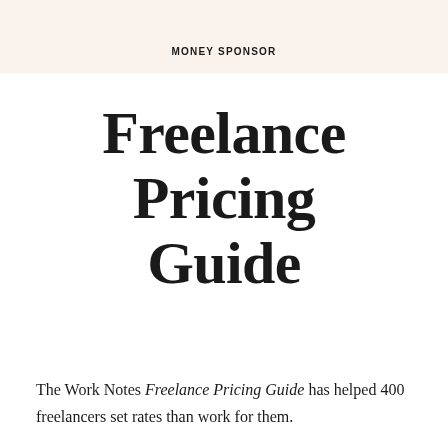MONEY SPONSOR
Freelance Pricing Guide
The Work Notes Freelance Pricing Guide has helped 400 freelancers set rates than work for them.